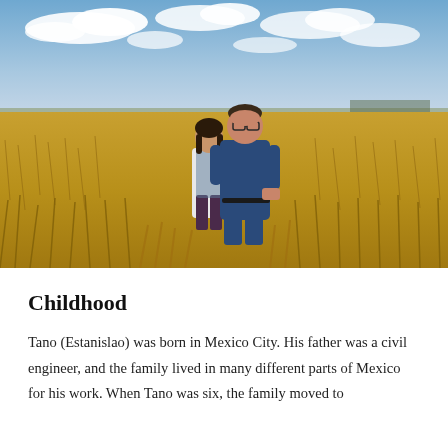[Figure (photo): A man and a woman standing together in a vast golden prairie field under a blue sky with white clouds. The man is larger, wearing a blue polo shirt and jeans. The woman is smaller, wearing a white jacket and dark pants. Tall dry grass surrounds them.]
Childhood
Tano (Estanislao) was born in Mexico City. His father was a civil engineer, and the family lived in many different parts of Mexico for his work. When Tano was six, the family moved to